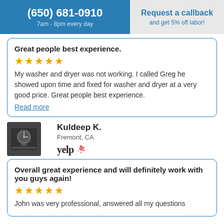(650) 681-0910 | 7am - 8pm every day | Request a callback | and get 5% off labor!
Great people best experience.
★★★★★
My washer and dryer was not working. I called Greg he showed upon time and fixed for washer and dryer at a very good price. Great people best experience.
Read more
Kuldeep K.
Fremont, CA
yelp
[Figure (photo): Reviewer avatar photo showing a clock in a dark setting]
Overall great experience and will definitely work with you guys again!
★★★★★
John was very professional, answered all my questions and...